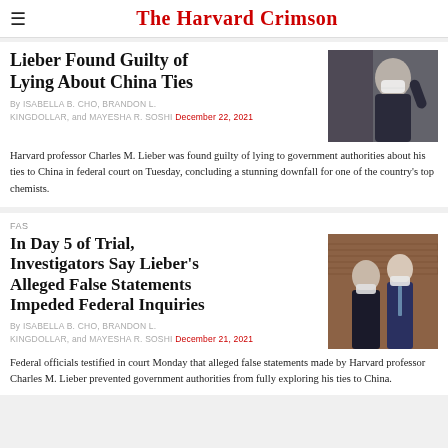The Harvard Crimson
Lieber Found Guilty of Lying About China Ties
By ISABELLA B. CHO, BRANDON L. KINGDOLLAR, and MAYESHA R. SOSHI December 22, 2021
[Figure (photo): Person wearing a white face mask, outdoors in winter clothing]
Harvard professor Charles M. Lieber was found guilty of lying to government authorities about his ties to China in federal court on Tuesday, concluding a stunning downfall for one of the country's top chemists.
FAS
In Day 5 of Trial, Investigators Say Lieber's Alleged False Statements Impeded Federal Inquiries
By ISABELLA B. CHO, BRANDON L. KINGDOLLAR, and MAYESHA R. SOSHI December 21, 2021
[Figure (photo): Two men in suits, both wearing face masks, walking together outside in front of a brick wall]
Federal officials testified in court Monday that alleged false statements made by Harvard professor Charles M. Lieber prevented government authorities from fully exploring his ties to China.